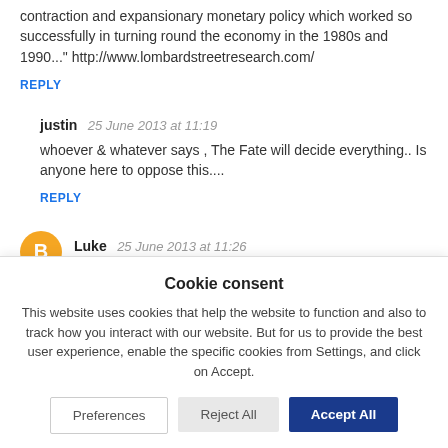contraction and expansionary monetary policy which worked so successfully in turning round the economy in the 1980s and 1990..." http://www.lombardstreetresearch.com/
REPLY
justin  25 June 2013 at 11:19
whoever & whatever says , The Fate will decide everything.. Is anyone here to oppose this....
REPLY
Luke  25 June 2013 at 11:26
Cookie consent
This website uses cookies that help the website to function and also to track how you interact with our website. But for us to provide the best user experience, enable the specific cookies from Settings, and click on Accept.
Preferences
Reject All
Accept All